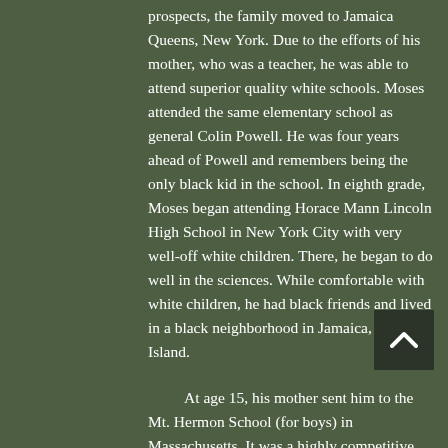prospects, the family moved to Jamaica Queens, New York. Due to the efforts of his mother, who was a teacher, he was able to attend superior quality white schools. Moses attended the same elementary school as general Colin Powell. He was four years ahead of Powell and remembers being the only black kid in the school. In eighth grade, Moses began attending Horace Mann Lincoln High School in New York City with very well-off white children. There, he began to do well in the sciences. While comfortable with white children, he had black friends and lived in a black neighborhood in Jamaica, Long Island.
At age 15, his mother sent him to the Mt. Hermon School (for boys) in Massachusetts. It was a highly competitive